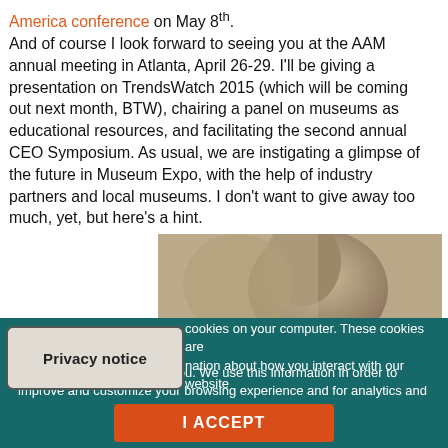America conference on May 8th. And of course I look forward to seeing you at the AAM annual meeting in Atlanta, April 26-29. I'll be giving a presentation on TrendsWatch 2015 (which will be coming out next month, BTW), chairing a panel on museums as educational resources, and facilitating the second annual CEO Symposium. As usual, we are instigating a glimpse of the future in Museum Expo, with the help of industry partners and local museums. I don't want to give away too much, yet, but here's a hint.
[Figure (photo): A partial photograph showing the back of a person's head, appears to be a historical or vintage photo with muted sepia/brown tones.]
Privacy notice
cookies on your computer. These cookies are nation about how you interact with our website and allow us to remember you. We use this information in order to improve and customize your browsing experience and for analytics and metrics about our visitors both on this website and other media. To find out more about the cookies we use, see our Privacy Policy.
I ACCEPT